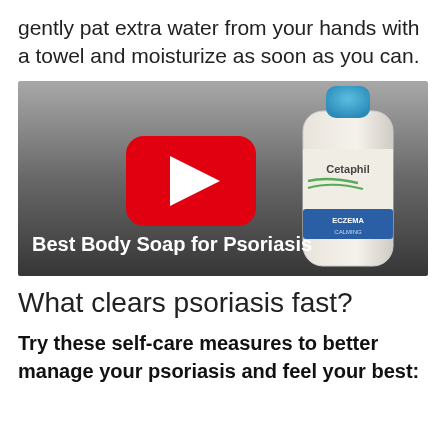gently pat extra water from your hands with a towel and moisturize as soon as you can.
[Figure (screenshot): YouTube video thumbnail showing a Cetaphil Eczema bottle on a grey background with a red YouTube play button and white bold text reading 'Best Body Soap for Psoriasis']
What clears psoriasis fast?
Try these self-care measures to better manage your psoriasis and feel your best: